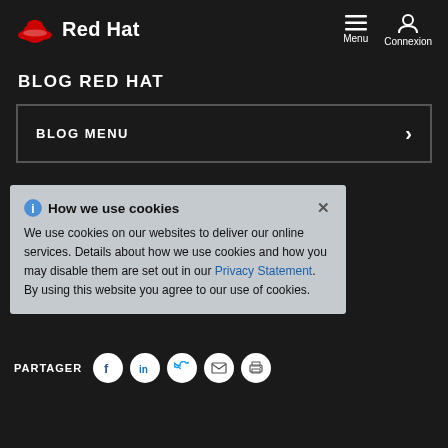[Figure (logo): Red Hat logo with red hat icon and white 'Red Hat' text]
Menu  Connexion
BLOG RED HAT
BLOG MENU
OpenStack Summit Tokyo – Day 1
27 octobre 2015 | Caroline Elllore, Sr. Principal Product Marketing Manager
How we use cookies
We use cookies on our websites to deliver our online services. Details about how we use cookies and how you may disable them are set out in our Privacy Statement. By using this website you agree to our use of cookies.
PARTAGER